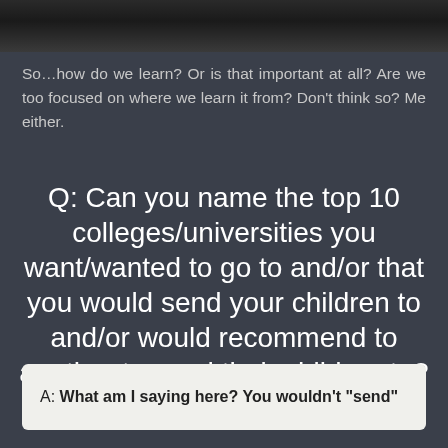[Figure (photo): Black and white photo strip at top of page, partially cropped]
So…how do we learn? Or is that important at all? Are we too focused on where we learn it from? Don't think so? Me either.
Q: Can you name the top 10 colleges/universities you want/wanted to go to and/or that you would send your children to and/or would recommend to another to send their children to?
A: What am I saying here? You wouldn't "send"